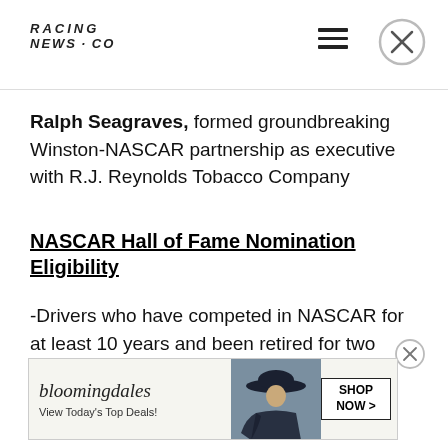RACING NEWS.CO
Ralph Seagraves, formed groundbreaking Winston-NASCAR partnership as executive with R.J. Reynolds Tobacco Company
NASCAR Hall of Fame Nomination Eligibility
-Drivers who have competed in NASCAR for at least 10 years and been retired for two years are eligible for nomination to the NHO... se a driver... AR will review and determine if any
[Figure (other): Bloomingdale's advertisement banner: 'bloomingdales - View Today's Top Deals!' with a woman in a hat and SHOP NOW > button]